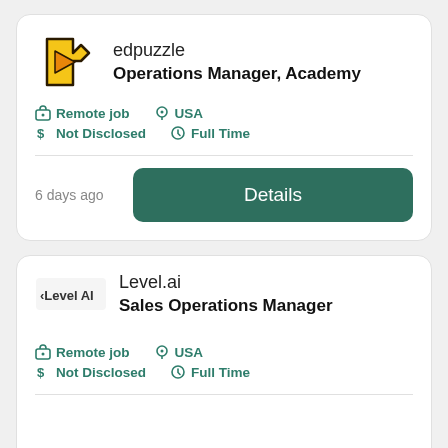[Figure (logo): edpuzzle puzzle piece logo in yellow/orange]
edpuzzle
Operations Manager, Academy
Remote job   USA   Not Disclosed   Full Time
6 days ago
Details
[Figure (logo): Level AI text logo]
Level.ai
Sales Operations Manager
Remote job   USA   Not Disclosed   Full Time